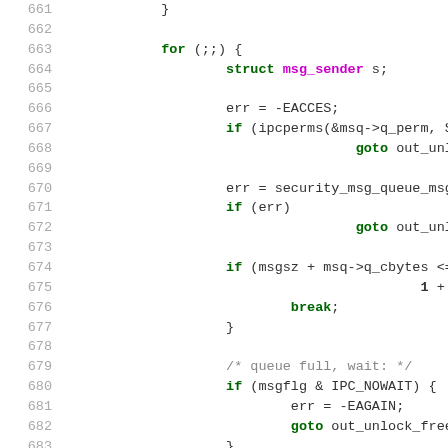[Figure (screenshot): Source code listing showing lines 661-687 of a C kernel file, displaying a for loop with message queue send logic including permission checks, security checks, queue capacity checks, and wait handling.]